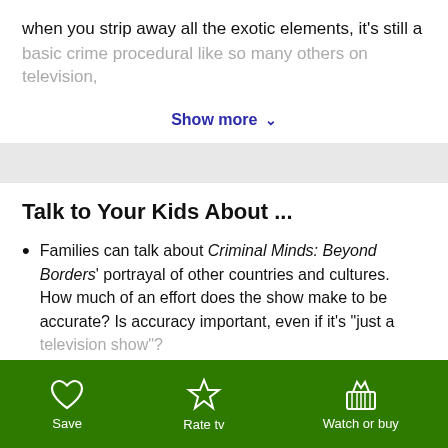when you strip away all the exotic elements, it's still a
basic crime procedural like so many others on television,
Show more ∨
Talk to Your Kids About ...
Families can talk about Criminal Minds: Beyond Borders' portrayal of other countries and cultures. How much of an effort does the show make to be accurate? Is accuracy important, even if it's "just a television show"?
Show more ∨
Save | Rate tv | Watch or buy